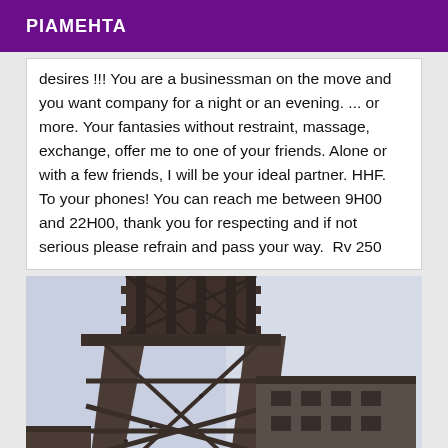PIAMEHTA
desires !!! You are a businessman on the move and you want company for a night or an evening. ... or more. Your fantasies without restraint, massage, exchange, offer me to one of your friends. Alone or with a few friends, I will be your ideal partner. HHF.  To your phones! You can reach me between 9H00 and 22H00, thank you for respecting and if not serious please refrain and pass your way.  Rv 250
[Figure (photo): Close-up photograph of the Eiffel Tower's iron lattice structure against a pale blue-grey sky, showing the upper section of the tower with its characteristic cross-beamed steel framework.]